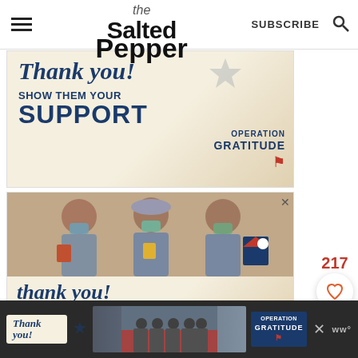the Salted Pepper | SUBSCRIBE
[Figure (advertisement): Operation Gratitude ad with 'thank you' script text, SHOW THEM YOUR SUPPORT, Operation Gratitude logo]
[Figure (advertisement): Operation Gratitude ad featuring photo of three nurses/healthcare workers in masks holding cards and gifts, with 'thank you!' script and SHOW THEM YOUR text below]
[Figure (advertisement): Bottom banner ad for Operation Gratitude with 'thank you' script, photo of firefighters, and Operation Gratitude logo]